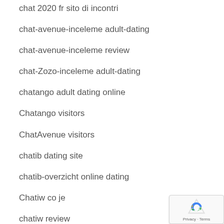chat 2020 fr sito di incontri
chat-avenue-inceleme adult-dating
chat-avenue-inceleme review
chat-Zozo-inceleme adult-dating
chatango adult dating online
Chatango visitors
ChatAvenue visitors
chatib dating site
chatib-overzicht online dating
Chatiw co je
chatiw review
chatki adult dating online